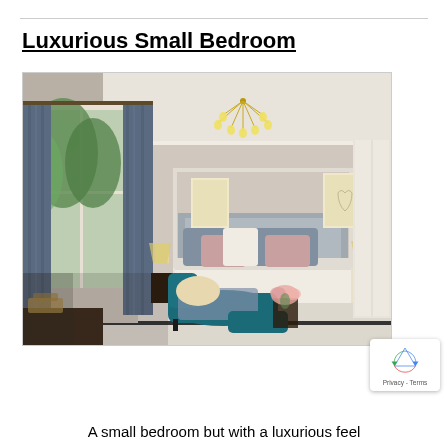Luxurious Small Bedroom
[Figure (photo): A luxurious small bedroom interior featuring a four-poster canopy bed with pink and grey pillows, teal velvet chaise lounge and ottoman, gold sputnik chandelier, large French doors with dark grey curtains, white built-in wardrobe, bedside lamps, and floral arrangements on a side table. The room has warm taupe/grey walls and cream carpet.]
A small bedroom but with a luxurious feel